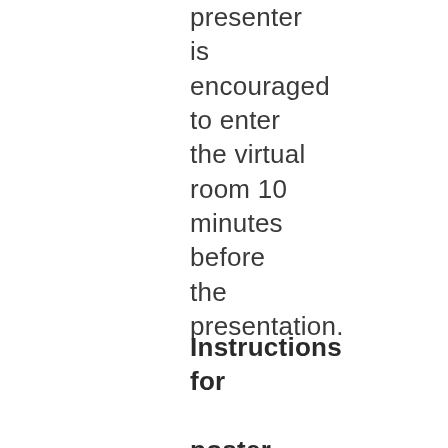presenter is encouraged to enter the virtual room 10 minutes before the presentation.
Instructions for poster and short